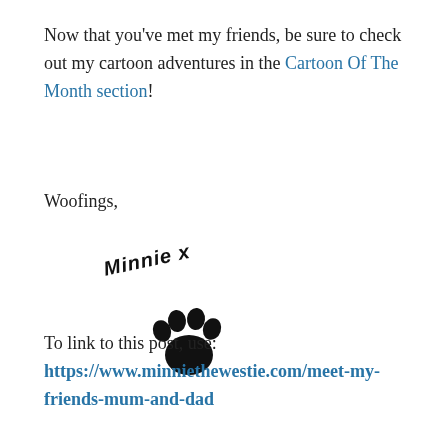Now that you've met my friends, be sure to check out my cartoon adventures in the Cartoon Of The Month section!
Woofings,
[Figure (illustration): Handwritten-style signature reading 'Minnie x' at a slight angle, with a large black paw print below it]
To link to this post, use: https://www.minniethewestie.com/meet-my-friends-mum-and-dad